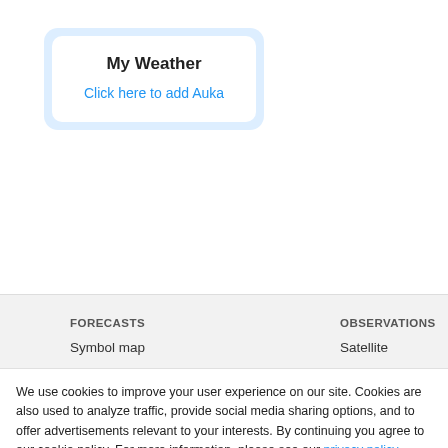My Weather
Click here to add Auka
FORECASTS
Symbol map
Radar
Satellite
Temperature
OBSERVATIONS
Satellite
SEA AREAS
Baltic Sea, FI
We use cookies to improve your user experience on our site. Cookies are also used to analyze traffic, provide social media sharing options, and to offer advertisements relevant to your interests. By continuing you agree to our cookie policy. For more information, please see our privacy policy.
I agree